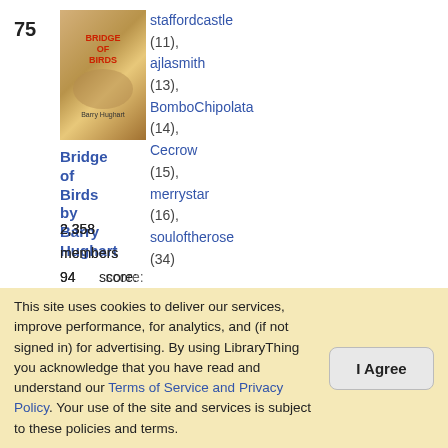75
[Figure (photo): Book cover of Bridge of Birds by Barry Hughart]
staffordcastle (11), ajlasmith (13), BomboChipolata (14), Cecrow (15), merrystar (16), souloftherose (34)
Bridge of Birds by Barry Hughart
2,358 members
94 reviews
Score: 12.06
★★★★½ (4.37
This site uses cookies to deliver our services, improve performance, for analytics, and (if not signed in) for advertising. By using LibraryThing you acknowledge that you have read and understand our Terms of Service and Privacy Policy. Your use of the site and services is subject to these policies and terms.